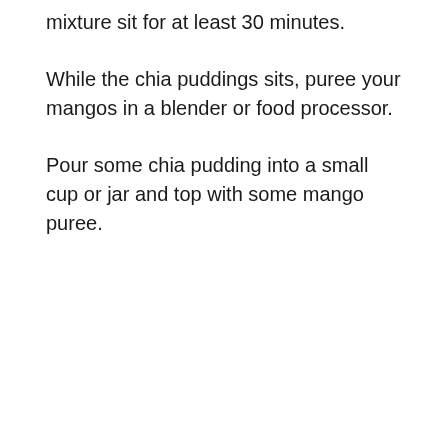mixture sit for at least 30 minutes.
While the chia puddings sits, puree your mangos in a blender or food processor.
Pour some chia pudding into a small cup or jar and top with some mango puree.